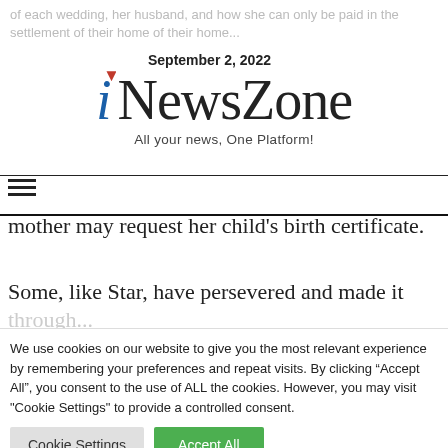mother may request her child's birth certificate.
September 2, 2022
iNewsZone
All your news, One Platform!
mother may request her child's birth certificate.
Some, like Star, have persevered and made it through.
We use cookies on our website to give you the most relevant experience by remembering your preferences and repeat visits. By clicking "Accept All", you consent to the use of ALL the cookies. However, you may visit "Cookie Settings" to provide a controlled consent.
Cookie Settings
Accept All